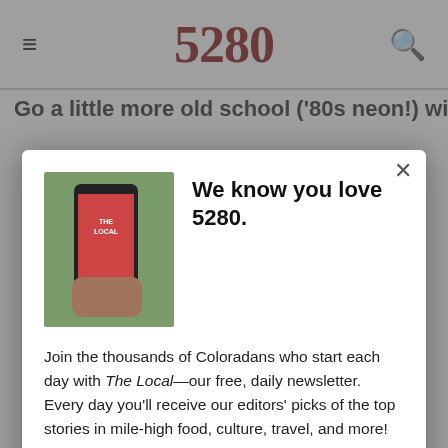5280
Go a little more old school ('80s neon!) with these
[Figure (screenshot): Modal popup on 5280 magazine website with newsletter signup. Top section shows a hand holding a phone with The Local newsletter app. Headline reads 'We know you love 5280.' Body text reads 'Join the thousands of Coloradans who start each day with The Local—our free, daily newsletter. Every day you'll receive our editors' picks of the top stories in mile-high food, culture, travel, and more!' With a red 'SIGN ME UP!' button.]
[Figure (photo): CU Medicine advertisement showing text 'living a healthier life.' and CU Medicine logo at bottom]